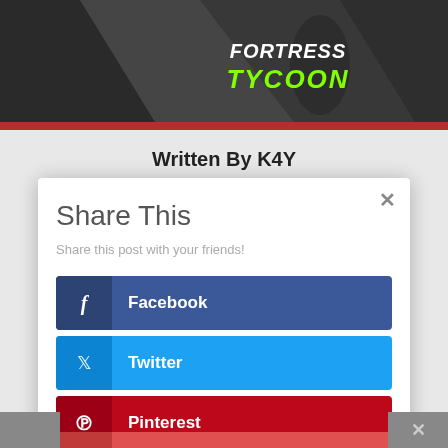[Figure (screenshot): Game banner showing 'FORTRESS TYCOON' logo text on dark geometric background with red bottom bar]
Written By K4Y
[Figure (screenshot): Share This modal dialog with close button (×), subtitle 'Share this post with your friends!', and four social share buttons: Facebook, Twitter, Pinterest, Like]
Facebook
Twitter
Pinterest
Like